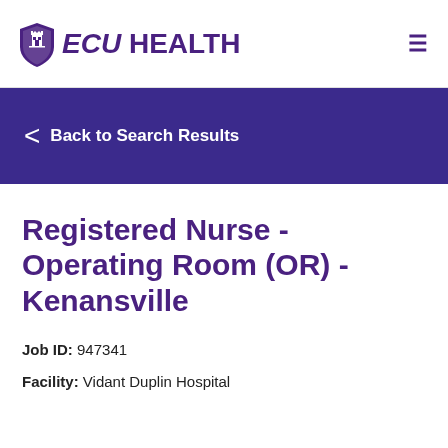ECU HEALTH
Back to Search Results
Registered Nurse - Operating Room (OR) - Kenansville
Job ID: 947341
Facility: Vidant Duplin Hospital